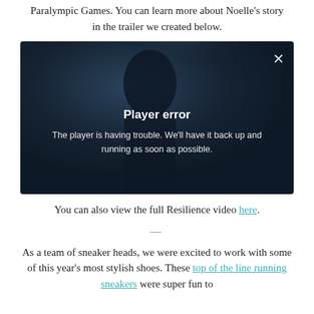Paralympic Games. You can learn more about Noelle’s story in the trailer we created below.
[Figure (screenshot): Video player showing a dark cinematic image of a person's silhouette/profile with a 'Player error' overlay. The overlay shows bold white text 'Player error' and smaller text 'The player is having trouble. We’ll have it back up and running as soon as possible.' A close (X) button is in the top right corner.]
You can also view the full Resilience video here.
—
As a team of sneaker heads, we were excited to work with some of this year’s most stylish shoes. These top of the line running sneakers were super fun to